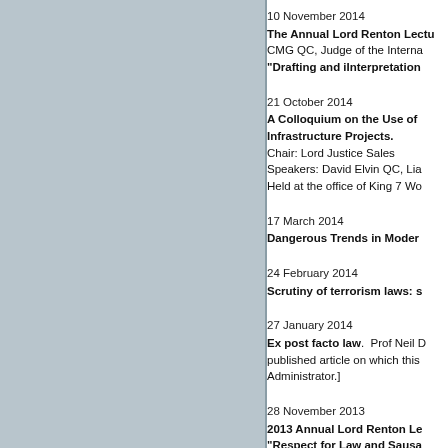[Figure (other): Gray left panel / sidebar area]
10 November 2014
The Annual Lord Renton Lectu... CMG QC, Judge of the Interna...
"Drafting and iInterpretation...
21 October 2014
A Colloquium on the Use of ... Infrastructure Projects.
Chair: Lord Justice Sales
Speakers: David Elvin QC, Lia...
Held at the office of King 7 Wo...
17 March 2014
Dangerous Trends in Moder...
24 February 2014
Scrutiny of terrorism laws: s...
27 January 2014
Ex post facto law.  Prof Neil D... published article on which this... Administrator.]
28 November 2013
2013 Annual Lord Renton Le... "Respect for Law and Sausa... Growth and Infrastructure Ac...
Pannick QC
15 November 2013
2013 Statute Law Society Co...